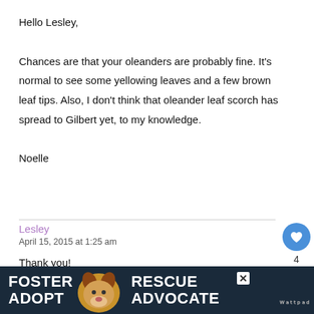Hello Lesley,

Chances are that your oleanders are probably fine. It's normal to see some yellowing leaves and a few brown leaf tips. Also, I don't think that oleander leaf scorch has spread to Gilbert yet, to my knowledge.

Noelle
Lesley
April 15, 2015 at 1:25 am

Thank you!
[Figure (infographic): Advertisement banner: FOSTER ADOPT / RESCUE ADVOCATE with image of a dog (beagle), close button, and brand logo on dark background]